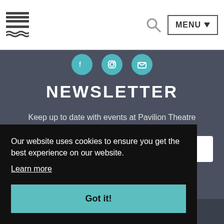MENU navigation bar with hamburger/logo icon, search icon, and MENU button
[Figure (illustration): Three teal circular social media icon buttons]
NEWSLETTER
Keep up to date with events at Pavilion Theatre
Enter your email
Our website uses cookies to ensure you get the best experience on our website.
Learn more
Got it!
© 2022 Pavilion Theatre Ltd.   Sitemap   Login/Register